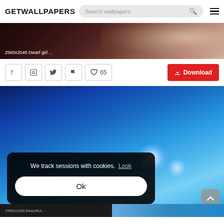GETWALLPAPERS — Search wallpapers
[Figure (screenshot): Wallpaper thumbnail strip showing dark textured background, labeled '2560x2048 Dwarf girl ...']
2560x2048 Dwarf girl ...
65  Download
[Figure (screenshot): Main wallpaper image showing a blue sky gradient with bright bokeh light flares. Overlaid cookie consent dialog reading 'We track sessions with cookies. Look' with an 'Ok' button. Bottom strip shows '2560x1000 Beautiful...' label and a blue gradient thumbnail.]